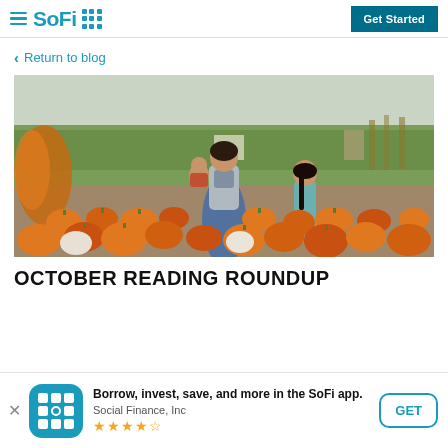SoFi — Get Started
< Return to blog
[Figure (photo): A woman holding a toddler and walking hand-in-hand with a young girl through a pumpkin patch. Orange pumpkins fill the foreground, with corn fields and farm structures in the background.]
OCTOBER READING ROUNDUP
Borrow, invest, save, and more in the SoFi app.
Social Finance, Inc
★★★★½